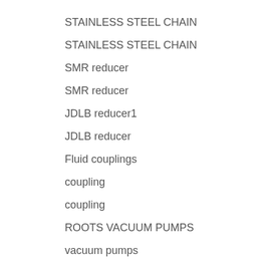STAINLESS STEEL CHAIN
STAINLESS STEEL CHAIN
SMR reducer
SMR reducer
JDLB reducer1
JDLB reducer
Fluid couplings
coupling
coupling
ROOTS VACUUM PUMPS
vacuum pumps
vacuum pump
(no title)
motor
T Style Flanges For Use With Taper Lock Bushings